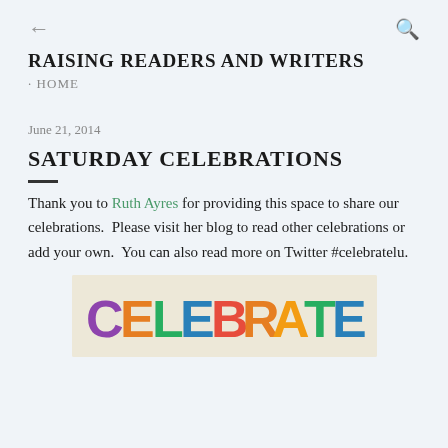RAISING READERS AND WRITERS
· HOME
June 21, 2014
SATURDAY CELEBRATIONS
Thank you to Ruth Ayres for providing this space to share our celebrations.  Please visit her blog to read other celebrations or add your own.  You can also read more on Twitter #celebratelu.
[Figure (illustration): Colorful hand-lettered CELEBRATE sign with rainbow-colored letters on a light wooden background]